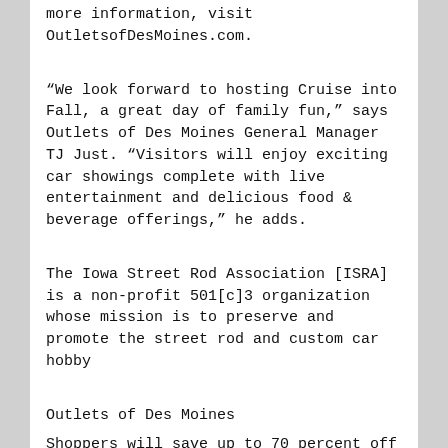more information, visit OutletsofDesMoines.com.
“We look forward to hosting Cruise into Fall, a great day of family fun,” says Outlets of Des Moines General Manager TJ Just. “Visitors will enjoy exciting car showings complete with live entertainment and delicious food & beverage offerings,” he adds.
The Iowa Street Rod Association [ISRA] is a non-profit 501[c]3 organization whose mission is to preserve and promote the street rod and custom car hobby
Outlets of Des Moines
Shoppers will save up to 70 percent off on top brands at Outlets of Des Moines, an open-air lifestyle destination in Altoona, Iowa. Outlets of Des Moines features nationally renowned stores such as kate spade new york, Polo Ralph Lauren, Nike Factory Store, Michael Kors Outlet, Express Factory Outlet, Converse, Tommy Hilfiger, Under Armour